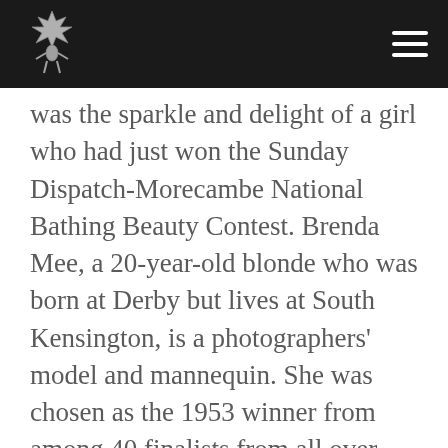[Logo and navigation menu]
was the sparkle and delight of a girl who had just won the Sunday Dispatch-Morecambe National Bathing Beauty Contest. Brenda Mee, a 20-year-old blonde who was born at Derby but lives at South Kensington, is a photographers' model and mannequin. She was chosen as the 1953 winner from among 40 finalists from all over Britain at Morecambe last week.
“What am I going to do with the